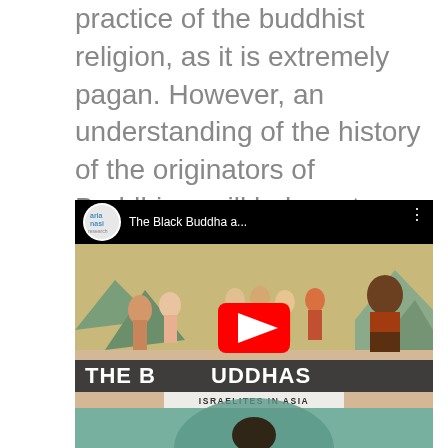practice of the buddhist religion, as it is extremely pagan. However, an understanding of the history of the originators of Buddhism will help us to better understand the historical Israelite presence and influence in the Far East.
[Figure (screenshot): YouTube video thumbnail showing 'The Black Buddha a...' by arianasi research channel. The thumbnail shows a historical painting/mural with multiple figures. Overlaid text reads 'THE B[LACK] BUDDHAS' and 'ISRAELITES IN ASIA'. A red YouTube play button is centered on the thumbnail.]